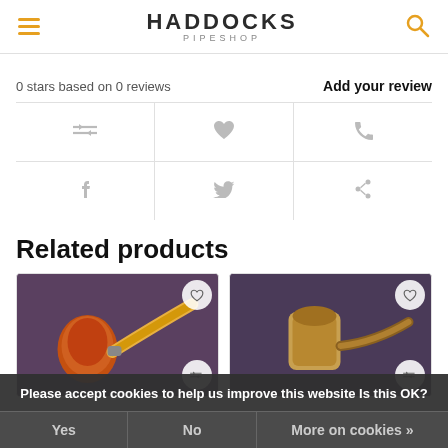HADDOCKS PIPESHOP
0 stars based on 0 reviews
Add your review
[Figure (other): Icon grid with compare, heart/wishlist, phone, facebook, twitter, pinterest icons in a 2x3 table layout]
Related products
[Figure (photo): Two tobacco pipe product cards side by side with heart and compare icons, overlaid by cookie consent banner]
Please accept cookies to help us improve this website Is this OK?
Yes
No
More on cookies »